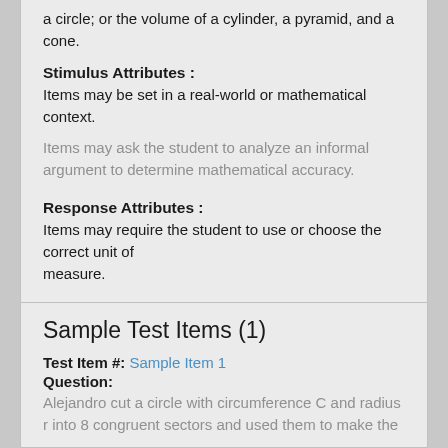a circle; or the volume of a cylinder, a pyramid, and a cone.
Stimulus Attributes : Items may be set in a real-world or mathematical context.
Items may ask the student to analyze an informal argument to determine mathematical accuracy.
Response Attributes : Items may require the student to use or choose the correct unit of measure.
Sample Test Items (1)
Test Item #: Sample Item 1
Question:
Alejandro cut a circle with circumference C and radius r into 8 congruent sectors and used them to make the